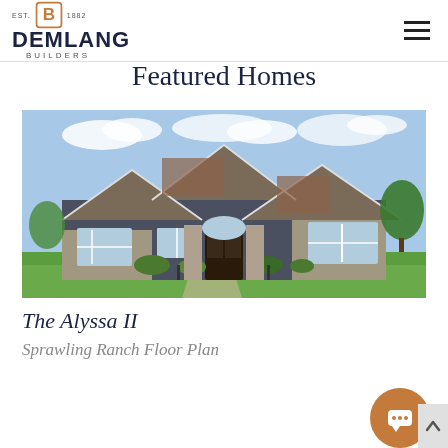DEMLANG BUILDERS — EST. 1882
Featured Homes
[Figure (photo): Exterior photo of a large craftsman-style ranch home with stone and dark siding, multiple gabled rooflines, landscaped front yard, and green lawn under a partly cloudy sky.]
The Alyssa II
Sprawling Ranch Floor Plan